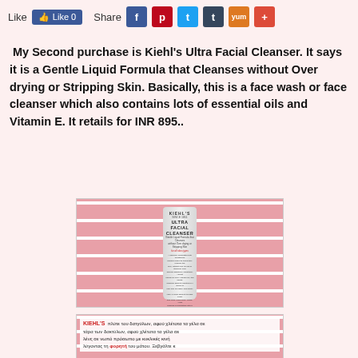[Figure (screenshot): Social sharing bar with Like button (Facebook Like 0) and Share icons for Facebook, Pinterest, Twitter, Tumblr, Yummly, and a plus button]
My Second purchase is Kiehl's Ultra Facial Cleanser. It says it is a Gentle Liquid Formula that Cleanses without Over drying or Stripping Skin. Basically, this is a face wash or face cleanser which also contains lots of essential oils and Vitamin E. It retails for INR 895..
[Figure (photo): Photo of Kiehl's Ultra Facial Cleanser tube (2.5 fl oz / 75 ml) placed on a pink and white striped fabric background]
[Figure (photo): Partial photo of product label text in Greek/foreign language on pink and white striped fabric background]